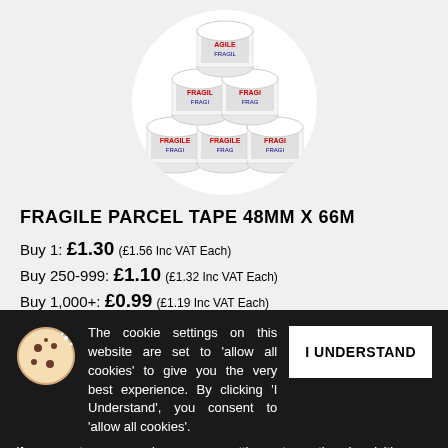[Figure (photo): Stacked rolls of red and white FRAGILE parcel tape arranged in a circular white background]
FRAGILE PARCEL TAPE 48MM X 66M
Buy 1: £1.30 (£1.56 Inc VAT Each)
Buy 250-999: £1.10 (£1.32 Inc VAT Each)
Buy 1,000+: £0.99 (£1.19 Inc VAT Each)
In Stock
ADD TO CART
The cookie settings on this website are set to 'allow all cookies' to give you the very best experience. By clicking 'I Understand', you consent to 'allow all cookies'. If you want, you can change your settings at any time by visiting our cookies page. More About Cookies